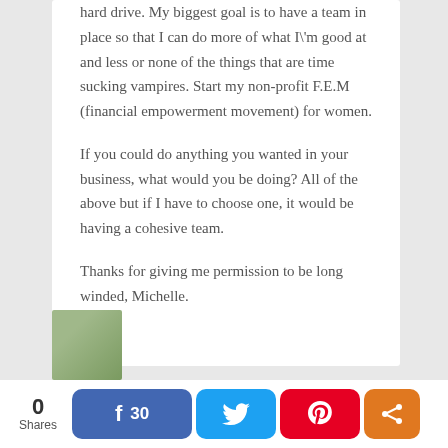hard drive. My biggest goal is to have a team in place so that I can do more of what I'm good at and less or none of the things that are time sucking vampires. Start my non-profit F.E.M (financial empowerment movement) for women.
If you could do anything you wanted in your business, what would you be doing? All of the above but if I have to choose one, it would be having a cohesive team.
Thanks for giving me permission to be long winded, Michelle.
Reply
[Figure (screenshot): Social share bar at bottom with 0 Shares count, Facebook button showing 30, Twitter button, Pinterest button, and share button]